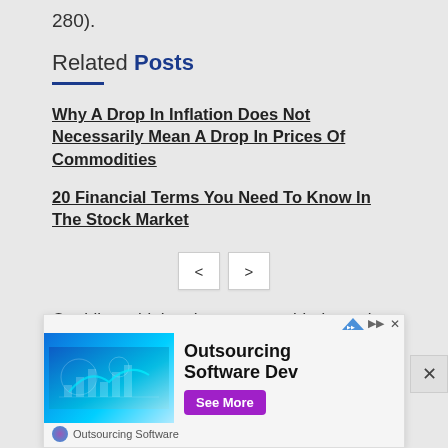280).
Related Posts
Why A Drop In Inflation Does Not Necessarily Mean A Drop In Prices Of Commodities
20 Financial Terms You Need To Know In The Stock Market
Ogubike said that the court presided over by Justice Olatoregun-Ishola held that SEEPCO
[Figure (other): Advertisement banner for Outsourcing Software Dev with a See More button and a blue tech background image]